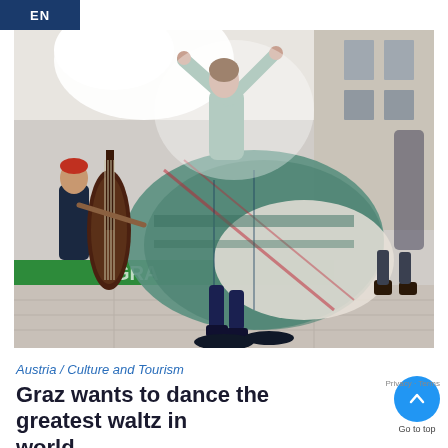EN
[Figure (photo): Outdoor folk dance scene with people in traditional Austrian attire. A woman in a plaid skirt is spinning energetically. In the background, a musician plays a double bass near a green banner reading 'GRAZ'.]
Austria / Culture and Tourism
Graz wants to dance the greatest waltz in the world